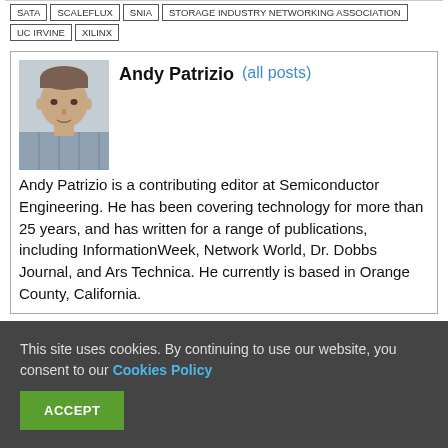SATA | SCALEFLUX | SNIA | STORAGE INDUSTRY NETWORKING ASSOCIATION | UC IRVINE | XILINX
[Figure (photo): Headshot photo of Andy Patrizio]
Andy Patrizio  (all posts)
Andy Patrizio is a contributing editor at Semiconductor Engineering. He has been covering technology for more than 25 years, and has written for a range of publications, including InformationWeek, Network World, Dr. Dobbs Journal, and Ars Technica. He currently is based in Orange County, California.
This site uses cookies. By continuing to use our website, you consent to our Cookies Policy
ACCEPT